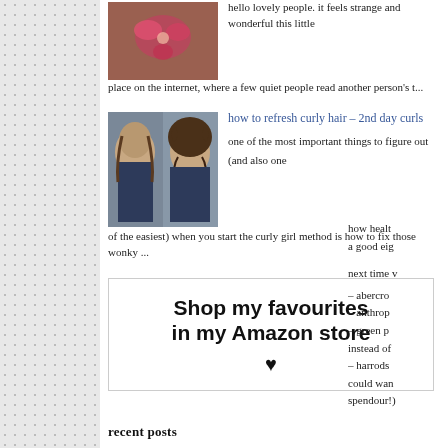[Figure (photo): Thumbnail image of pink flowers in a bowl held by a hand]
hello lovely people. it feels strange and wonderful this little place on the internet, where a few quiet people read another person's t...
[Figure (photo): Two-panel photo of a young woman with curly hair, side by side comparison]
how to refresh curly hair – 2nd day curls
one of the most important things to figure out (and also one of the easiest) when you start the curly girl method is how to fix those wonky ...
Shop my favourites in my Amazon store ♥
how health a good eig
– abercro
– anthrop
– green p
instead of
– harrods
could wan spendour!)
recent posts